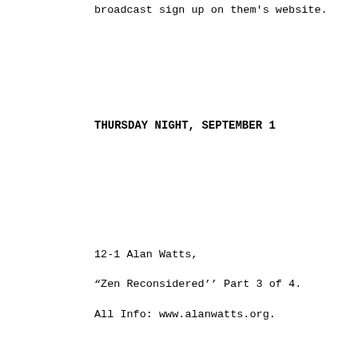broadcast sign up on them's website.
THURSDAY NIGHT, SEPTEMBER 1
12-1 Alan Watts,
“Zen Reconsidered’’ Part 3 of 4.
All Info: www.alanwatts.org.